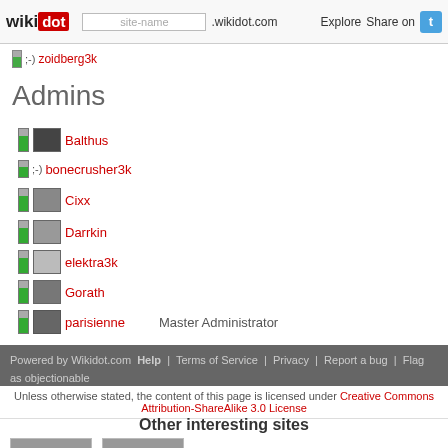wikidot | site-name .wikidot.com | Explore | Share on Twitter
;-) zoidberg3k
Admins
Balthus
;-) bonecrusher3k
Cixx
Darrkin
elektra3k
Gorath
parisienne   Master Administrator
Powered by Wikidot.com | Help | Terms of Service | Privacy | Report a bug | Flag as objectionable
Unless otherwise stated, the content of this page is licensed under Creative Commons Attribution-ShareAlike 3.0 License
Other interesting sites